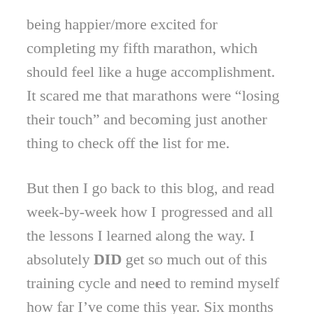being happier/more excited for completing my fifth marathon, which should feel like a huge accomplishment.  It scared me that marathons were “losing their touch” and becoming just another thing to check off the list for me.
But then I go back to this blog, and read week-by-week how I progressed and all the lessons I learned along the way. I absolutely DID get so much out of this training cycle and need to remind myself how far I’ve come this year. Six months ago, I hit a dead end in New York. I felt like I had nothing going for me, and I uprooted my entire life and moved across the country. Along the way I met so many loved ones, developed my career on the west coast, all while running two half marathons and one marathon. It turned out to be the best decision I ever made.